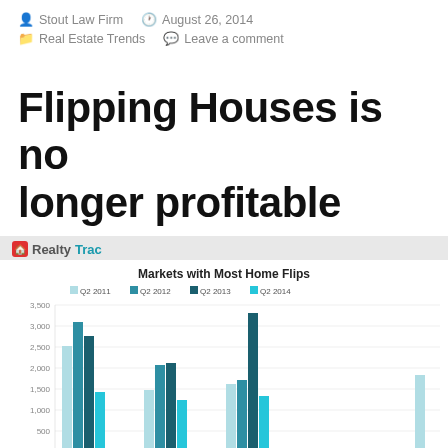Stout Law Firm   August 26, 2014   Real Estate Trends   Leave a comment
Flipping Houses is no longer profitable
[Figure (grouped-bar-chart): Markets with Most Home Flips]